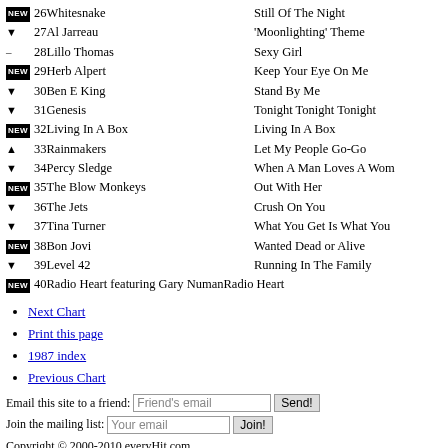NEW 26 Whitesnake — Still Of The Night
▼ 27 Al Jarreau — 'Moonlighting' Theme
– 28 Lillo Thomas — Sexy Girl
NEW 29 Herb Alpert — Keep Your Eye On Me
▼ 30 Ben E King — Stand By Me
▼ 31 Genesis — Tonight Tonight Tonight
NEW 32 Living In A Box — Living In A Box
▲ 33 Rainmakers — Let My People Go-Go
▼ 34 Percy Sledge — When A Man Loves A Woman
NEW 35 The Blow Monkeys — Out With Her
▼ 36 The Jets — Crush On You
▼ 37 Tina Turner — What You Get Is What You See
NEW 38 Bon Jovi — Wanted Dead or Alive
▼ 39 Level 42 — Running In The Family
NEW 40 Radio Heart featuring Gary Numan — Radio Heart
Next Chart
Print this page
1987 index
Previous Chart
Email this site to a friend: [Friend's email] [Send!]
Join the mailing list: [Your email] [Join!]
Copyright © 2000-2010 everyHit.com